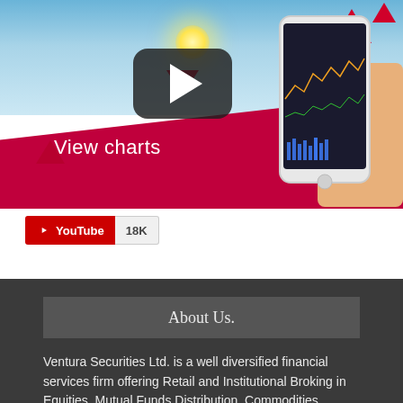[Figure (screenshot): YouTube video thumbnail showing a financial app with 'View charts' text on a red and sky background with a smartphone displaying stock charts and a play button overlay]
YouTube 18K
About Us.
Ventura Securities Ltd. is a well diversified financial services firm offering Retail and Institutional Broking in Equities, Mutual Funds Distribution, Commodities